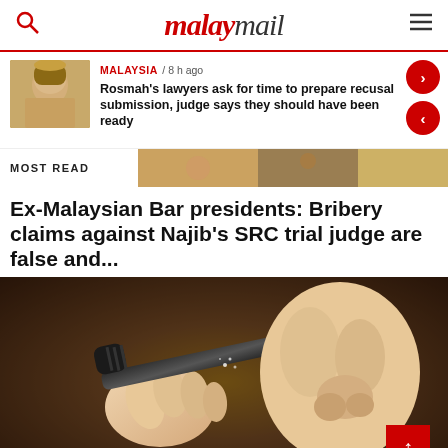malaymail
MALAYSIA / 8 h ago
Rosmah's lawyers ask for time to prepare recusal submission, judge says they should have been ready
MOST READ
Ex-Malaysian Bar presidents: Bribery claims against Najib's SRC trial judge are false and...
[Figure (photo): Close-up photo of hands holding a nail file or beauty tool near a person's nose]